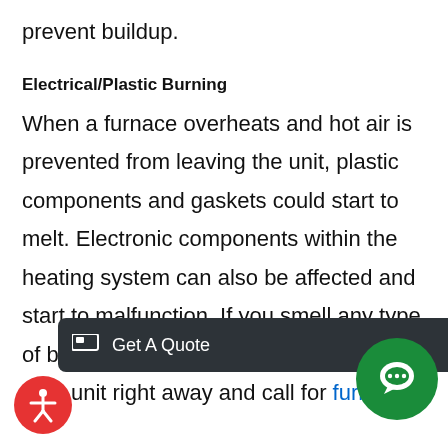prevent buildup.
Electrical/Plastic Burning
When a furnace overheats and hot air is prevented from leaving the unit, plastic components and gaskets could start to melt. Electronic components within the heating system can also be affected and start to malfunction. If you smell any type of burning smell, turn your unit right away and call for furnace